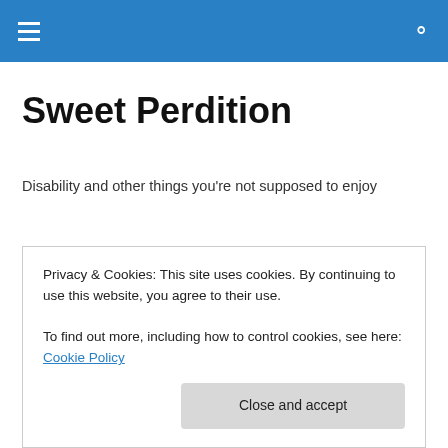[navigation bar with hamburger menu and search icon]
Sweet Perdition
Disability and other things you're not supposed to enjoy
TAGGED WITH FEMINISTS WITH DISABILITIES FOR A WAY FORWARD
New blog of awesomeness
[truncated...]
Privacy & Cookies: This site uses cookies. By continuing to use this website, you agree to their use.
To find out more, including how to control cookies, see here: Cookie Policy
Close and accept
intersection between feminism and disability rights